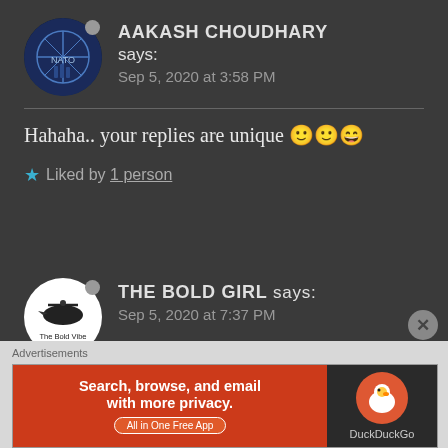AAKASH CHOUDHARY says: Sep 5, 2020 at 3:58 PM
Hahaha.. your replies are unique 🙂🙂😄
★ Liked by 1 person
THE BOLD GIRL says: Sep 5, 2020 at 7:37 PM
Advertisements
[Figure (screenshot): DuckDuckGo advertisement banner: orange left panel with text 'Search, browse, and email with more privacy. All in One Free App' and dark right panel with DuckDuckGo duck logo]